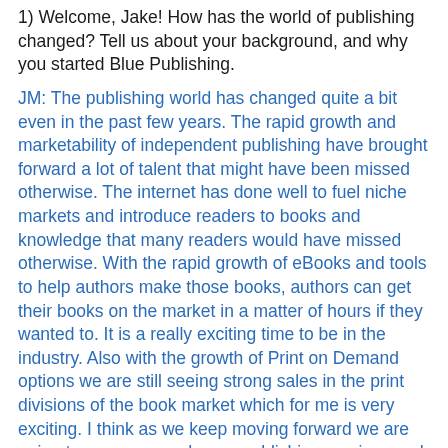1) Welcome, Jake!  How has the world of publishing changed?  Tell us about your background, and why you started Blue Publishing.
JM: The publishing world has changed quite a bit even in the past few years.  The rapid growth and marketability of independent publishing have brought forward a lot of talent that might have been missed otherwise.  The internet has done well to fuel niche markets and introduce readers to books and knowledge that many readers would have missed otherwise.  With the rapid growth of eBooks and tools to help authors make those books, authors can get their books on the market in a matter of hours if they wanted to.  It is a really exciting time to be in the industry.  Also with the growth of Print on Demand options we are still seeing strong sales in the print divisions of the book market which for me is very exciting.  I think as we keep moving forward we are going to see more and more publishing services and less and less publishing companies.  We are already seeing that with big companies like Simon and Schuster who now offer Archway Publishing which is a self-publishing company.  Because of this big shift I was noticing a lot of amateur content being put